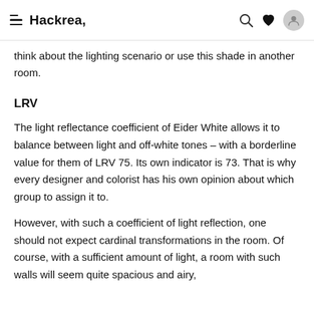Hackrea,
think about the lighting scenario or use this shade in another room.
LRV
The light reflectance coefficient of Eider White allows it to balance between light and off-white tones – with a borderline value for them of LRV 75. Its own indicator is 73. That is why every designer and colorist has his own opinion about which group to assign it to.
However, with such a coefficient of light reflection, one should not expect cardinal transformations in the room. Of course, with a sufficient amount of light, a room with such walls will seem quite spacious and airy, but if the primary source…